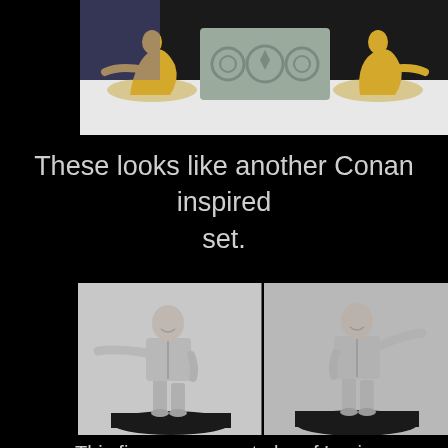[Figure (photo): Photo of miniature figurines on a decorative base/throne. Two yellow kneeling female figures flank a gray stone-look base with embossed circular emblems.]
These looks like another Conan inspired set.
[Figure (photo): Two side-by-side photos of an unpainted gray resin miniature figurine of a bald man in a suit with one arm extended, shown from front-left and front-right angles on a black base.]
This figure appears to be of Lenin